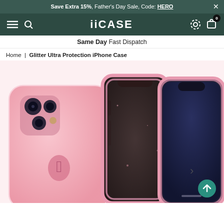Save Extra 15%, Father's Day Sale, Code: HERO
iiCASE
Same Day Fast Dispatch
Home | Glitter Ultra Protection iPhone Case
[Figure (photo): Product photo of pink glitter iPhone 12 Pro cases from iiCASE — showing front/back views with transparent rose glitter finish and dark glitter inner panel.]